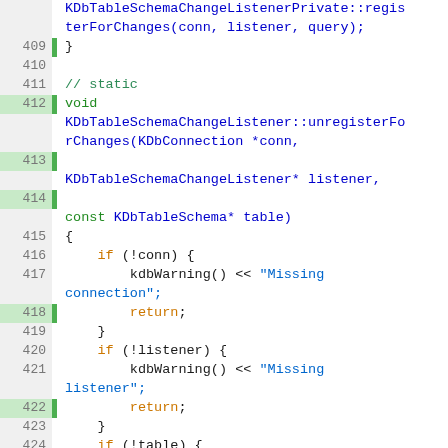[Figure (screenshot): Source code viewer showing C++ code for KDbTableSchemaChangeListener class, lines 409-432, with syntax highlighting (blue keywords, green comments, orange keywords/return, string literals in blue). Line numbers shown on left with green gutter indicators on modified/active lines.]